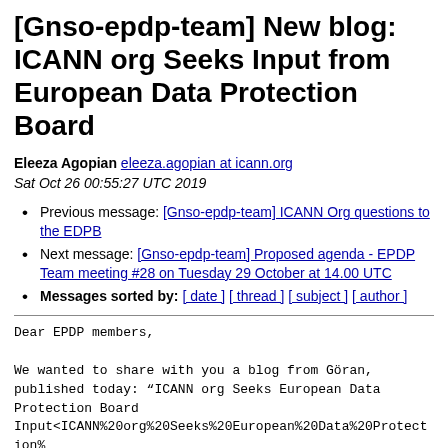[Gnso-epdp-team] New blog: ICANN org Seeks Input from European Data Protection Board
Eleeza Agopian eleeza.agopian at icann.org
Sat Oct 26 00:55:27 UTC 2019
Previous message: [Gnso-epdp-team] ICANN Org questions to the EDPB
Next message: [Gnso-epdp-team] Proposed agenda - EPDP Team meeting #28 on Tuesday 29 October at 14.00 UTC
Messages sorted by: [ date ] [ thread ] [ subject ] [ author ]
Dear EPDP members,

We wanted to share with you a blog from Göran,
published today: “ICANN org Seeks European Data
Protection Board
Input<ICANN%20org%20Seeks%20European%20Data%20Protection%